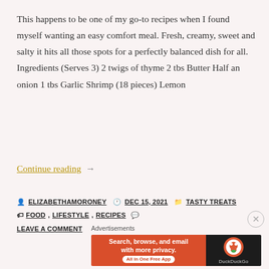This happens to be one of my go-to recipes when I found myself wanting an easy comfort meal. Fresh, creamy, sweet and salty it hits all those spots for a perfectly balanced dish for all. Ingredients (Serves 3) 2 twigs of thyme 2 tbs Butter Half an onion 1 tbs Garlic Shrimp (18 pieces) Lemon
Continue reading →
ELIZABETHAMORONEY  DEC 15, 2021  TASTY TREATS  FOOD, LIFESTYLE, RECIPES  LEAVE A COMMENT
Advertisements
[Figure (other): DuckDuckGo advertisement banner: orange left panel with text 'Search, browse, and email with more privacy. All in One Free App' and dark right panel with DuckDuckGo logo and name.]